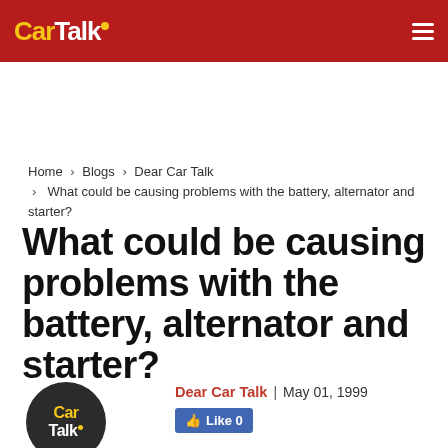Car Talk
Home > Blogs > Dear Car Talk > What could be causing problems with the battery, alternator and starter?
What could be causing problems with the battery, alternator and starter?
Dear Car Talk | May 01, 1999
[Figure (logo): Car Talk circular logo in dark background]
Like 0